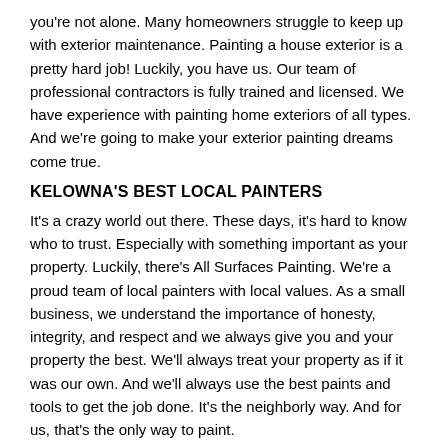you're not alone. Many homeowners struggle to keep up with exterior maintenance. Painting a house exterior is a pretty hard job! Luckily, you have us. Our team of professional contractors is fully trained and licensed. We have experience with painting home exteriors of all types. And we're going to make your exterior painting dreams come true.
KELOWNA'S BEST LOCAL PAINTERS
It's a crazy world out there. These days, it's hard to know who to trust. Especially with something important as your property. Luckily, there's All Surfaces Painting. We're a proud team of local painters with local values. As a small business, we understand the importance of honesty, integrity, and respect and we always give you and your property the best. We'll always treat your property as if it was our own. And we'll always use the best paints and tools to get the job done. It's the neighborly way. And for us, that's the only way to paint.
PROFESSIONAL EXTERIOR HOME PAINTING
There are some things best left to the professionals, and house painting